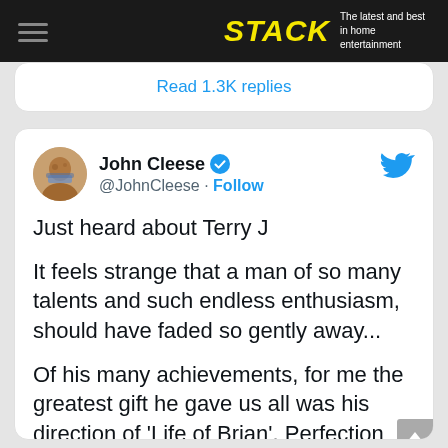STACK - The latest and best in home entertainment
Read 1.3K replies
[Figure (screenshot): Tweet by John Cleese (@JohnCleese) with verified badge and Twitter bird logo. Tweet text: Just heard about Terry J

It feels strange that a man of so many talents and such endless enthusiasm, should have faded so gently away...

Of his many achievements, for me the greatest gift he gave us all was his direction of 'Life of Brian'. Perfection]
Just heard about Terry J

It feels strange that a man of so many talents and such endless enthusiasm, should have faded so gently away...

Of his many achievements, for me the greatest gift he gave us all was his direction of 'Life of Brian'. Perfection